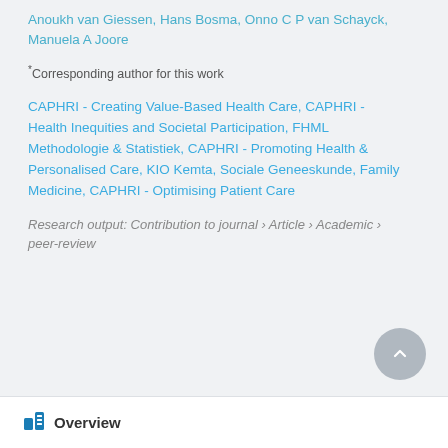Anoukh van Giessen, Hans Bosma, Onno C P van Schayck, Manuela A Joore
*Corresponding author for this work
CAPHRI - Creating Value-Based Health Care, CAPHRI - Health Inequities and Societal Participation, FHML Methodologie & Statistiek, CAPHRI - Promoting Health & Personalised Care, KIO Kemta, Sociale Geneeskunde, Family Medicine, CAPHRI - Optimising Patient Care
Research output: Contribution to journal › Article › Academic › peer-review
Overview